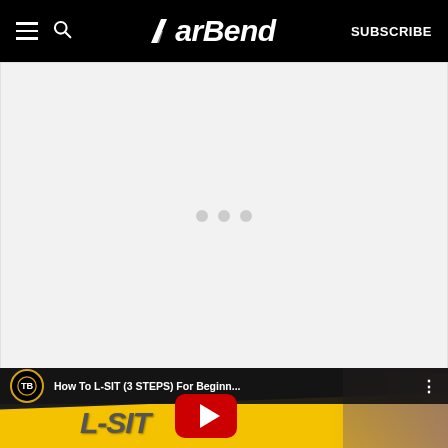BarBend — SUBSCRIBE
[Figure (other): Advertisement loading placeholder area with three gray dots indicating loading state]
[Figure (screenshot): YouTube video thumbnail for 'How To L-SIT (3 STEPS) For Beginn...' by TB channel, showing large L-SIT text on yellow background with a shirtless person and YouTube play button]